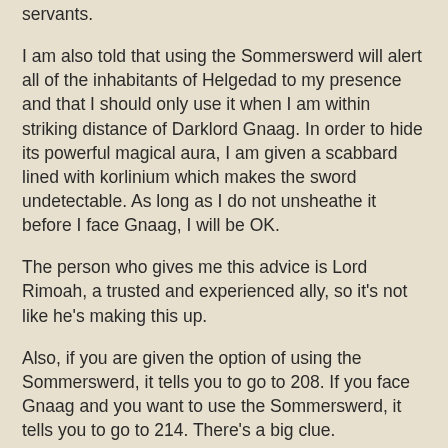servants.
I am also told that using the Sommerswerd will alert all of the inhabitants of Helgedad to my presence and that I should only use it when I am within striking distance of Darklord Gnaag.  In order to hide its powerful magical aura, I am given a scabbard lined with korlinium which makes the sword undetectable.  As long as I do not unsheathe it before I face Gnaag, I will be OK.
The person who gives me this advice is Lord Rimoah, a trusted and experienced ally, so it's not like he's making this up.
Also, if you are given the option of using the Sommerswerd, it tells you to go to 208.  If you face Gnaag and you want to use the Sommerswerd, it tells you to go to 214.  There's a big clue.
It is just like the big red button.  You've been told that doing it is bad.  You rationally know that doing it is bad, but you still want to.  It might be because you want to see what